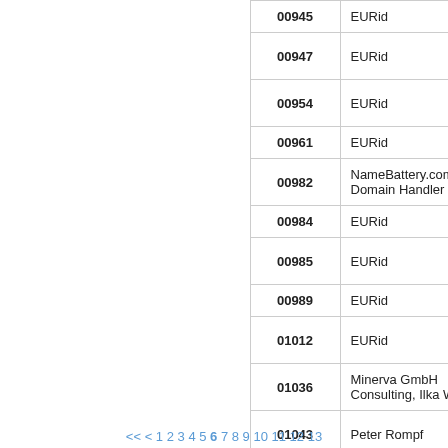| ID | Registrar | Info |
| --- | --- | --- |
| 00945 | EURid | ir. |
| 00947 | EURid | Po... Gu... |
| 00954 | EURid | vo... Pa... |
| 00961 | EURid | Da... |
| 00982 | NameBattery.com, Domain Handler | Sn... Ri... |
| 00984 | EURid | Ro... |
| 00985 | EURid | Ge... Or... |
| 00989 | EURid | TR... |
| 01012 | EURid | Di... AC... |
| 01036 | Minerva GmbH Consulting, Ilka Wormer | Su... Ke... |
| 01043 | Peter Rompf | Mo... Mi... |
| 01046 | EURid | Re... Bu... Je... |
| 01047 | EURid | Ma... |
<< < 1 2 3 4 5 6 7 8 9 10 11 12 13